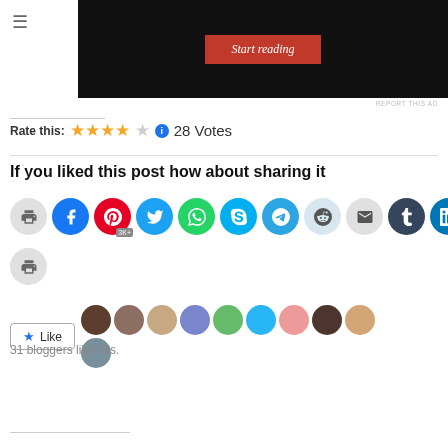[Figure (screenshot): Ad banner with black background and red 'Start reading' button]
REPORT THIS AD
Rate this: ★★★★☆ ℹ 28 Votes
If you liked this post how about sharing it
[Figure (infographic): Row of social sharing buttons: print, Facebook, Pinterest (3K+), Twitter, WhatsApp, Skype, Telegram, Reddit, Email, Tumblr, LinkedIn, and a second print button]
[Figure (infographic): Like button with star icon and row of 10 blogger avatar thumbnails]
31 bloggers like this.